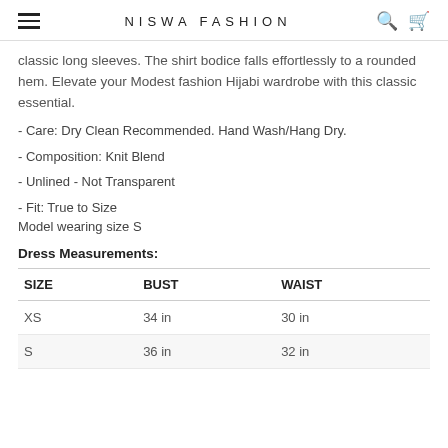NISWA FASHION
classic long sleeves. The shirt bodice falls effortlessly to a rounded hem. Elevate your Modest fashion Hijabi wardrobe with this classic essential.
- Care: Dry Clean Recommended. Hand Wash/Hang Dry.
- Composition: Knit Blend
- Unlined - Not Transparent
- Fit: True to Size
Model wearing size S
Dress Measurements:
| SIZE | BUST | WAIST |
| --- | --- | --- |
| XS | 34 in | 30 in |
| S | 36 in | 32 in |